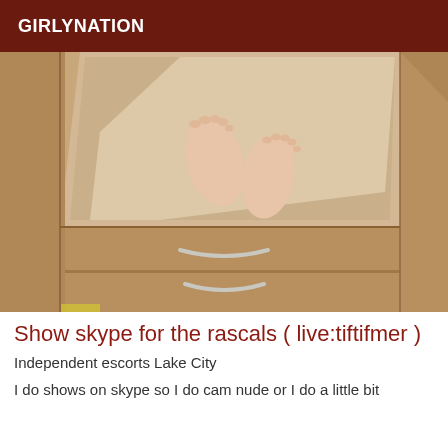GIRLYNATION
[Figure (photo): A photo showing bare feet standing on what appears to be a wooden drawer or furniture surface, viewed from above. The drawer has two metal handles visible at the bottom.]
Show skype for the rascals ( live:tiftifmer )
Independent escorts Lake City
I do shows on skype so I do cam nude or I do a little bit